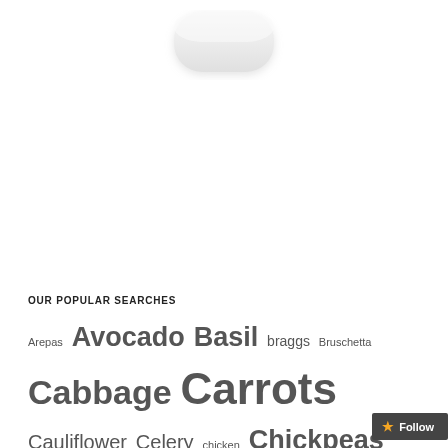[Figure (photo): Partial view of a white rounded product (appears to be a device or container) at the top of the page]
OUR POPULAR SEARCHES
Arepas Avocado Basil braggs Bruschetta Cabbage Carrots Cauliflower Celery chicken Chickpeas Chile California cilantro Coriander Cotija Crema Crispy Eggplant Feta gluten free IBS Irritable Mexican...